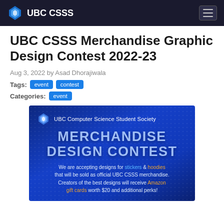UBC CSSS
UBC CSSS Merchandise Graphic Design Contest 2022-23
Aug 3, 2022 by Asad Dhorajiwala
Tags: event contest
Categories: event
[Figure (illustration): UBC Computer Science Student Society promotional banner for Merchandise Design Contest. Dark blue background with UBC CSSS logo, text 'MERCHANDISE DESIGN CONTEST', and description: 'We are accepting designs for stickers & hoodies that will be sold as official UBC CSSS merchandise. Creators of the best designs will receive Amazon gift cards worth $20 and additional perks!']